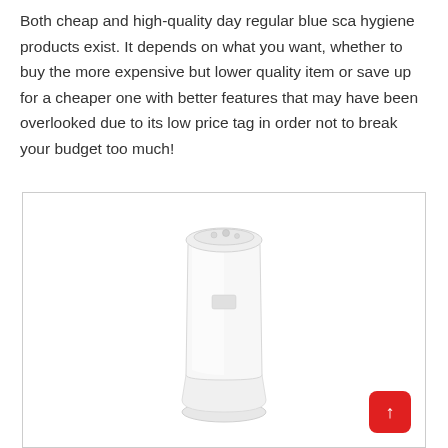Both cheap and high-quality day regular blue sca hygiene products exist. It depends on what you want, whether to buy the more expensive but lower quality item or save up for a cheaper one with better features that may have been overlooked due to its low price tag in order not to break your budget too much!
[Figure (photo): A white cylindrical hygiene/diaper pail product with a rounded top and a wider base, shown on a white background inside a bordered box. A red rounded square button with an upward arrow is overlaid in the bottom-right corner of the image box.]